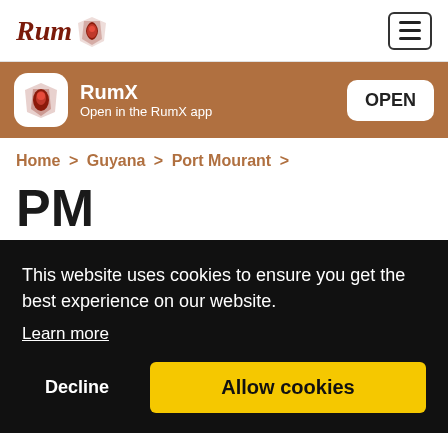Rum [logo] | [hamburger menu]
[Figure (infographic): RumX app banner with logo icon, app name 'RumX', subtitle 'Open in the RumX app', and OPEN button]
Home > Guyana > Port Mourant >
PM
This website uses cookies to ensure you get the best experience on our website. Learn more
Decline  Allow cookies